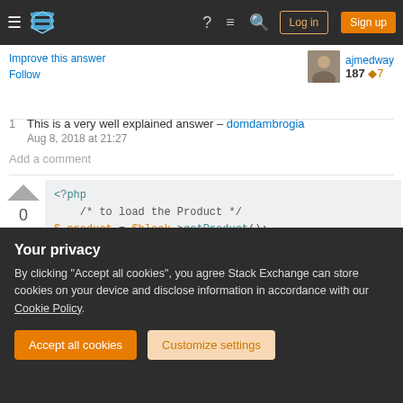Stack Exchange navigation bar with Log in and Sign up buttons
Improve this answer
Follow
ajmedway 187 7
1  This is a very well explained answer – domdambrogia  Aug 8, 2018 at 21:27
Add a comment
[Figure (screenshot): PHP code block showing: <?php /* to load the Product */ $_product = $block->getProduct(); $objectManager = \Magento\Framework\App\O $attributeSet = $objectManager.]
0
Your privacy
By clicking "Accept all cookies", you agree Stack Exchange can store cookies on your device and disclose information in accordance with our Cookie Policy.
Accept all cookies   Customize settings
Follow  366  1  11